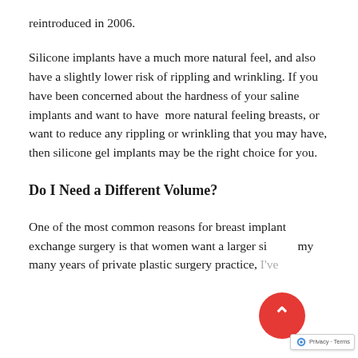reintroduced in 2006.
Silicone implants have a much more natural feel, and also have a slightly lower risk of rippling and wrinkling. If you have been concerned about the hardness of your saline implants and want to have  more natural feeling breasts, or want to reduce any rippling or wrinkling that you may have, then silicone gel implants may be the right choice for you.
Do I Need a Different Volume?
One of the most common reasons for breast implant exchange surgery is that women want a larger size. In my many years of private plastic surgery practice, I've